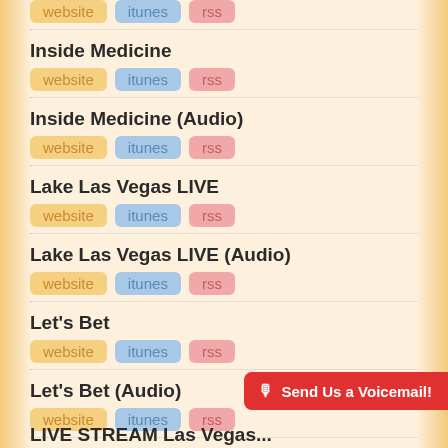Inside Medicine
Inside Medicine (Audio)
Lake Las Vegas LIVE
Lake Las Vegas LIVE (Audio)
Let's Bet
Let's Bet (Audio)
Send Us a Voicemail!
LIVE STREAM Las Vegas...